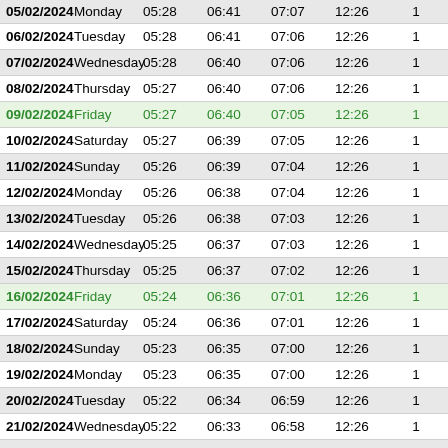| Date | Day | Col3 | Col4 | Col5 | Col6 | Col7 |
| --- | --- | --- | --- | --- | --- | --- |
| 05/02/2024 | Monday | 05:28 | 06:41 | 07:07 | 12:26 | 1 |
| 06/02/2024 | Tuesday | 05:28 | 06:41 | 07:06 | 12:26 | 1 |
| 07/02/2024 | Wednesday | 05:28 | 06:40 | 07:06 | 12:26 | 1 |
| 08/02/2024 | Thursday | 05:27 | 06:40 | 07:06 | 12:26 | 1 |
| 09/02/2024 | Friday | 05:27 | 06:40 | 07:05 | 12:26 | 1 |
| 10/02/2024 | Saturday | 05:27 | 06:39 | 07:05 | 12:26 | 1 |
| 11/02/2024 | Sunday | 05:26 | 06:39 | 07:04 | 12:26 | 1 |
| 12/02/2024 | Monday | 05:26 | 06:38 | 07:04 | 12:26 | 1 |
| 13/02/2024 | Tuesday | 05:26 | 06:38 | 07:03 | 12:26 | 1 |
| 14/02/2024 | Wednesday | 05:25 | 06:37 | 07:03 | 12:26 | 1 |
| 15/02/2024 | Thursday | 05:25 | 06:37 | 07:02 | 12:26 | 1 |
| 16/02/2024 | Friday | 05:24 | 06:36 | 07:01 | 12:26 | 1 |
| 17/02/2024 | Saturday | 05:24 | 06:36 | 07:01 | 12:26 | 1 |
| 18/02/2024 | Sunday | 05:23 | 06:35 | 07:00 | 12:26 | 1 |
| 19/02/2024 | Monday | 05:23 | 06:35 | 07:00 | 12:26 | 1 |
| 20/02/2024 | Tuesday | 05:22 | 06:34 | 06:59 | 12:26 | 1 |
| 21/02/2024 | Wednesday | 05:22 | 06:33 | 06:58 | 12:26 | 1 |
| 22/02/2024 | Thursday | 05:21 | 06:33 | 06:58 | 12:26 | 1 |